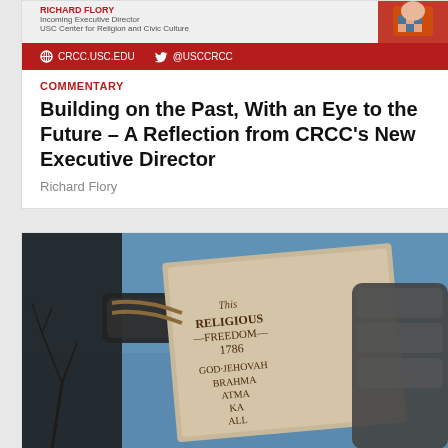[Figure (photo): Header photo strip with Richard Flory name, title 'Incoming Executive Director, USC Center for Religion and Civic Culture', and a portrait photo on right]
crcc.usc.edu  @usccrcc
COMMENTARY
Building on the Past, With an Eye to the Future – A Reflection from CRCC's New Executive Director
Richard Flory
[Figure (photo): Close-up photograph of a bronze or metal statue's hand holding a stone tablet inscribed with text including 'Religious Freedom 1786' and 'GOD JEHOVAH BRAHMA ATMA KA ALL' against a blue sky background with bare tree branches]